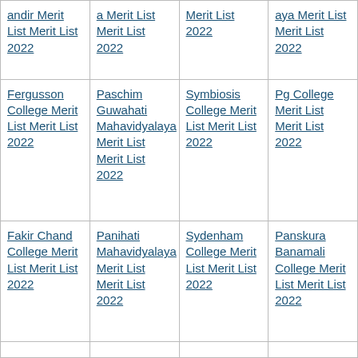| andir Merit List Merit List 2022 | a Merit List Merit List 2022 | Merit List 2022 | aya Merit List Merit List 2022 |
| Fergusson College Merit List Merit List 2022 | Paschim Guwahati Mahavidyalaya Merit List Merit List 2022 | Symbiosis College Merit List Merit List 2022 | Pg College Merit List Merit List 2022 |
| Fakir Chand College Merit List Merit List 2022 | Panihati Mahavidyalaya Merit List Merit List 2022 | Sydenham College Merit List Merit List 2022 | Panskura Banamali College Merit List Merit List 2022 |
|  |  |  |  |